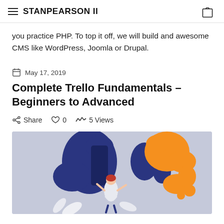STANPEARSON II
you practice PHP. To top it off, we will build and awesome CMS like WordPress, Joomla or Drupal.
May 17, 2019
Complete Trello Fundamentals – Beginners to Advanced
Share  0  5 Views
[Figure (illustration): Colorful illustration showing a person with abstract blue and orange splash shapes on a light blue/gray background, depicting Trello or productivity theme]